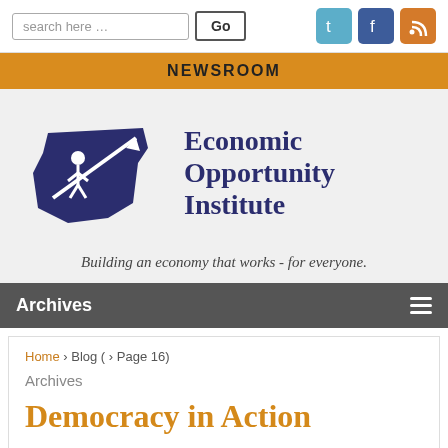NEWSROOM
[Figure (logo): Economic Opportunity Institute logo with Washington state silhouette and upward arrow, beside text 'Economic Opportunity Institute']
Building an economy that works - for everyone.
Archives
Home › Blog ( › Page 16)
Archives
Democracy in Action
Recently, the Governor's office has been flooded with phone calls from many and letters from dozens and